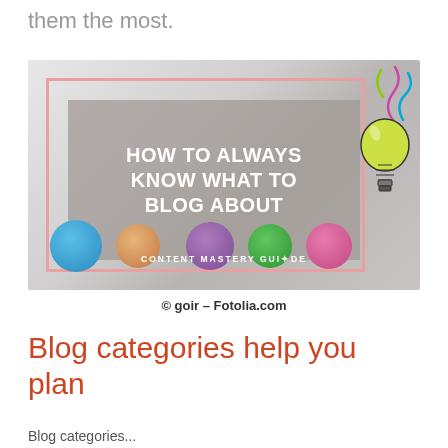them the most.
[Figure (photo): Promotional image for 'How To Always Know What To Blog About' by Content Mastery Guide, showing colorful crumpled paper balls and a lightbulb illustration.]
© goir – Fotolia.com
Blog categories help you plan
Blog categories...